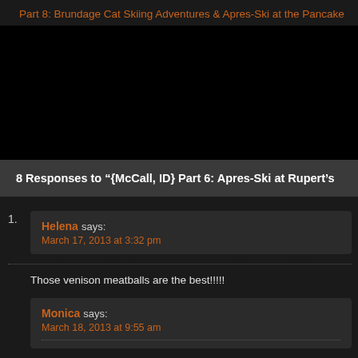Part 8: Brundage Cat Skiing Adventures & Apres-Ski at the Pancake
[Figure (photo): Dark/black image area, likely a photo that is not rendering or a very dark photograph]
8 Responses to "{McCall, ID} Part 6: Apres-Ski at Rupert's
Helena says: March 17, 2013 at 3:32 pm
Those venison meatballs are the best!!!!!
Monica says: March 18, 2013 at 9:55 am